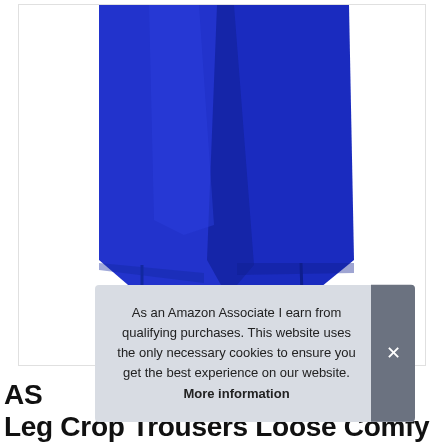[Figure (photo): Product photo of blue wide-leg crop trousers/culottes worn by a model (legs only visible), showing the lower half with bare feet and an anklet bracelet. The pants are royal blue with small slits at the hem.]
As an Amazon Associate I earn from qualifying purchases. This website uses the only necessary cookies to ensure you get the best experience on our website. More information
AS Leg Crop Trousers Loose Comfy